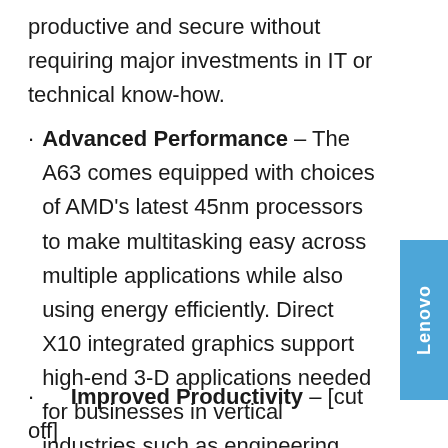productive and secure without requiring major investments in IT or technical know-how.
Advanced Performance – The A63 comes equipped with choices of AMD's latest 45nm processors to make multitasking easy across multiple applications while also using energy efficiently. Direct X10 integrated graphics support high-end 3-D applications needed for businesses in vertical industries such as engineering, graphic design and film production.
Improved Productivity – [cut off]